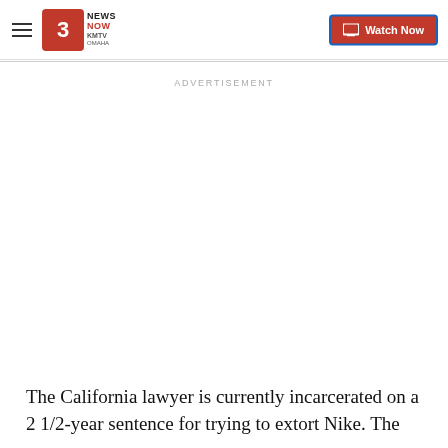3 News Now KMTV Omaha | Watch Now
ADVERTISEMENT
The California lawyer is currently incarcerated on a 2 1/2-year sentence for trying to extort Nike. The